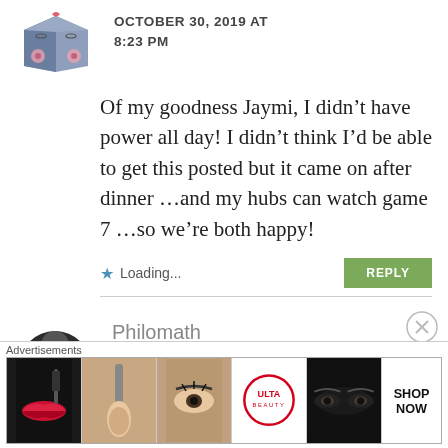[Figure (illustration): Book-shaped avatar illustration with flowers]
OCTOBER 30, 2019 AT 8:23 PM
Of my goodness Jaymi, I didn't have power all day! I didn't think I'd be able to get this posted but it came on after dinner ...and my hubs can watch game 7 ...so we're both happy!
Loading...
REPLY
[Figure (illustration): Dark circular avatar (partially visible) with name Philomath]
Philomath
Advertisements
[Figure (photo): ULTA beauty advertisement banner with makeup images]